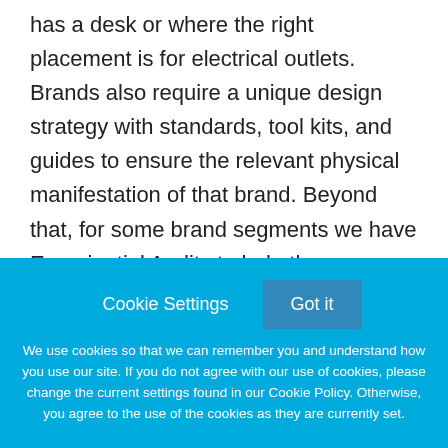has a desk or where the right placement is for electrical outlets. Brands also require a unique design strategy with standards, tool kits, and guides to ensure the relevant physical manifestation of that brand. Beyond that, for some brand segments we have Experiential Audits to help the on-property staff develop the right ambiance and creative experiences for guests and locals alike. Everything from the appropriate lighting, botanicals, and music (both genre and volume) for each time of day to which
Cookie Settings
Got it
We use cookies so that we can remember you and understand how you use our site. If you do not agree with our use of cookies, please change the current settings found in our Cookie Policy. Otherwise, you agree to the use of the cookies as they are currently set.